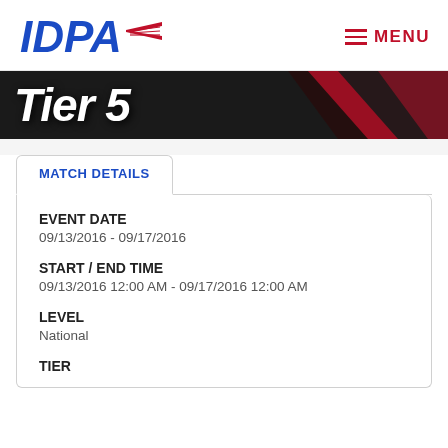IDPA | MENU
[Figure (illustration): Hero banner with 'Tier 5' text on dark background with red diagonal stripes]
MATCH DETAILS
EVENT DATE
09/13/2016 - 09/17/2016
START / END TIME
09/13/2016 12:00 AM - 09/17/2016 12:00 AM
LEVEL
National
TIER
5